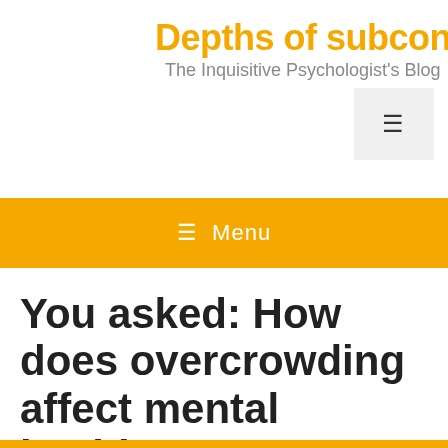Depths of subconsciо — The Inquisitive Psychologist's Blog
You asked: How does overcrowding affect mental health?